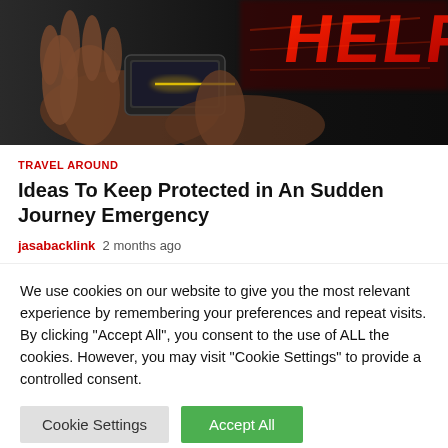[Figure (photo): Hands holding a smartphone with a glowing red 'HELP' text graphic in the background, suggesting an emergency travel situation.]
TRAVEL AROUND
Ideas To Keep Protected in An Sudden Journey Emergency
jasabacklink  2 months ago
We use cookies on our website to give you the most relevant experience by remembering your preferences and repeat visits. By clicking "Accept All", you consent to the use of ALL the cookies. However, you may visit "Cookie Settings" to provide a controlled consent.